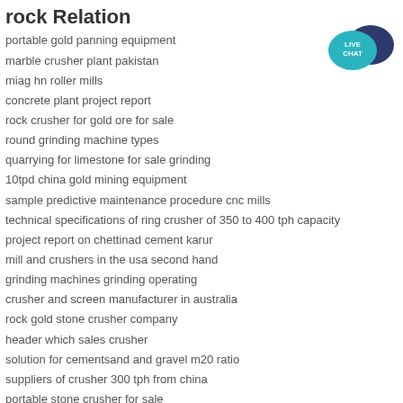rock Relation
portable gold panning equipment
marble crusher plant pakistan
miag hn roller mills
concrete plant project report
rock crusher for gold ore for sale
round grinding machine types
quarrying for limestone for sale grinding
10tpd china gold mining equipment
sample predictive maintenance procedure cnc mills
technical specifications of ring crusher of 350 to 400 tph capacity
project report on chettinad cement karur
mill and crushers in the usa second hand
grinding machines grinding operating
crusher and screen manufacturer in australia
rock gold stone crusher company
header which sales crusher
solution for cementsand and gravel m20 ratio
suppliers of crusher 300 tph from china
portable stone crusher for sale
mobile stone crusher for sale in dubai used
[Figure (illustration): Live Chat button icon with teal speech bubble and dark navy speech bubble overlapping, with text LIVE CHAT in white]